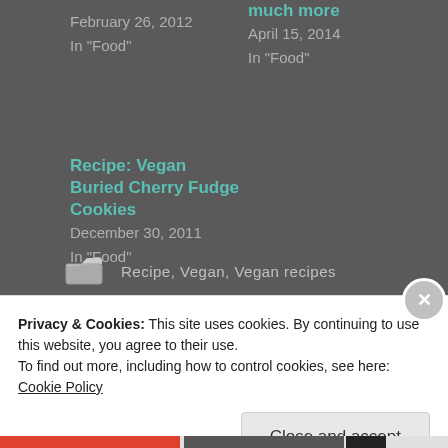February 26, 2012
In "Food"
much more
April 15, 2014
In "Food"
Recipe: Vegan Buried Cherry Fudge Cookies
December 30, 2011
In "Food"
Recipe, Vegan, Vegan recipes
VEGAN
Privacy & Cookies: This site uses cookies. By continuing to use this website, you agree to their use.
To find out more, including how to control cookies, see here: Cookie Policy
Close and accept